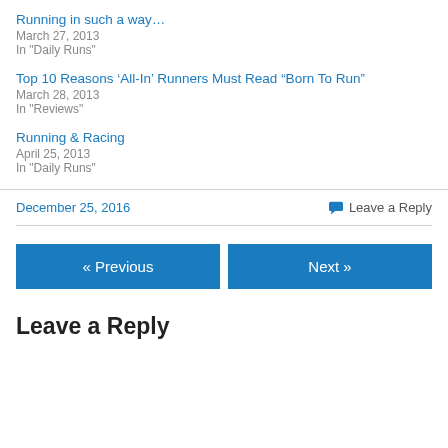Running in such a way…
March 27, 2013
In "Daily Runs"
Top 10 Reasons ‘All-In’ Runners Must Read “Born To Run”
March 28, 2013
In "Reviews"
Running & Racing
April 25, 2013
In "Daily Runs"
December 25, 2016    Leave a Reply
« Previous    Next »
Leave a Reply